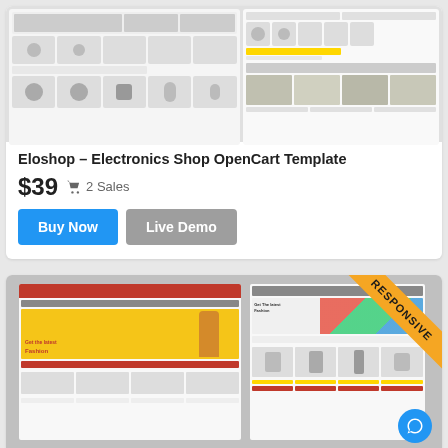[Figure (screenshot): Screenshot preview of Eloshop Electronics Shop OpenCart Template showing product grids with electronics items including headphones, smartwatches, cameras]
Eloshop – Electronics Shop OpenCart Template
$39  🛒 2 Sales
Buy Now   Live Demo
[Figure (screenshot): Screenshot preview of a second responsive OpenCart template showing fashion/electronics store with red header, hero banner with woman in red chair, and RESPONSIVE badge in gold corner]